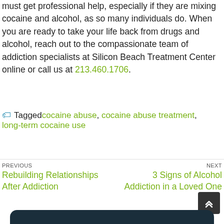must get professional help, especially if they are mixing cocaine and alcohol, as so many individuals do. When you are ready to take your life back from drugs and alcohol, reach out to the compassionate team of addiction specialists at Silicon Beach Treatment Center online or call us at 213.460.1706.
Tagged cocaine abuse, cocaine abuse treatment, long-term cocaine use
PREVIOUS Rebuilding Relationships After Addiction
NEXT 3 Signs of Alcohol Addiction in a Loved One